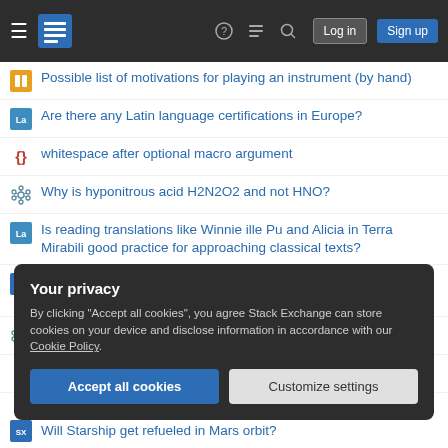Stack Exchange navigation header with Log in and Sign up buttons
Possible list of motivations for playing an instrument (by hand)
Are there any Latin language certifications in Europe?
whitespace after optional macro argument
Why is hyponitrous acid H2N2O2 and not HNO?
Is reading translations like Winnie ille Pu and Alicia in Terra Mirabili good practice for approaching classical texts?
What are some rationales to teach Computer Science students Sequences and Series?
What is a "formal" dimer?
Cut bar by plane (tikz, 3D)
Your privacy
By clicking "Accept all cookies", you agree Stack Exchange can store cookies on your device and disclose information in accordance with our Cookie Policy.
Accept all cookies  Customize settings
Will Starship get refueled in Mars orbit?